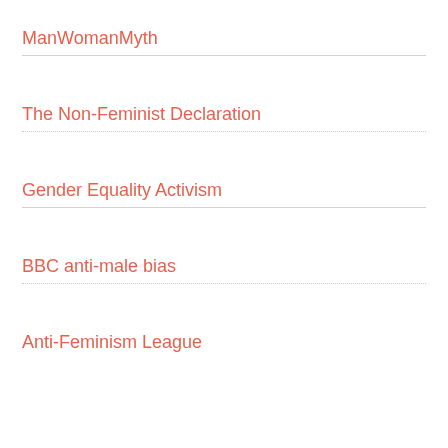ManWomanMyth
The Non-Feminist Declaration
Gender Equality Activism
BBC anti-male bias
Anti-Feminism League